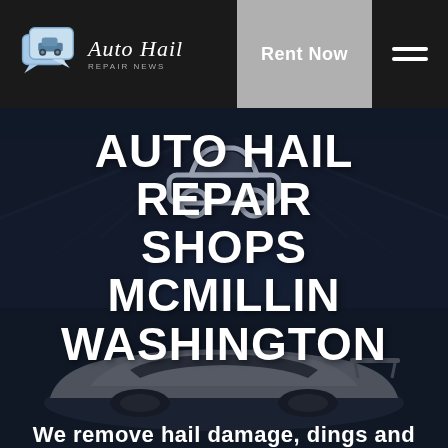[Figure (logo): Auto Hail Repair News logo with speech bubble car icon and italic script text]
Rent Now
[Figure (illustration): Hamburger menu icon with two horizontal white lines on dark background]
[Figure (photo): Dark overhead warehouse/garage interior with a white sports car (Porsche) in the foreground. A light gray car icon silhouette is overlaid in the center top area.]
AUTO HAIL REPAIR SHOPS MCMILLIN WASHINGTON
We remove hail damage, dings and